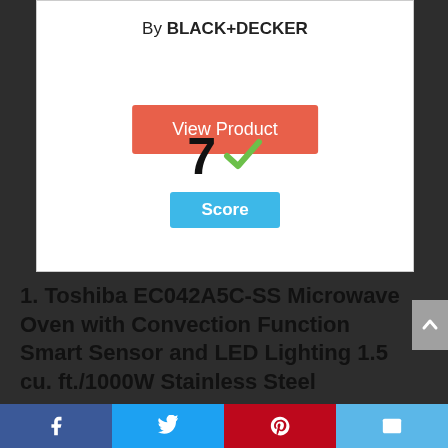By BLACK+DECKER
[Figure (other): Orange 'View Product' button]
[Figure (other): Score display: large '7' with green checkmark and blue 'Score' badge]
1. Toshiba EC042A5C-SS Microwave Oven with Convection Function Smart Sensor and LED Lighting 1.5 cu. ft./1000W Stainless Steel
Facebook | Twitter | Pinterest | Email share icons